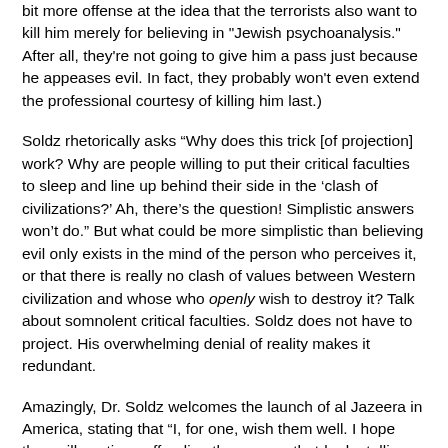bit more offense at the idea that the terrorists also want to kill him merely for believing in "Jewish psychoanalysis." After all, they're not going to give him a pass just because he appeases evil. In fact, they probably won't even extend the professional courtesy of killing him last.)
Soldz rhetorically asks “Why does this trick [of projection] work? Why are people willing to put their critical faculties to sleep and line up behind their side in the ‘clash of civilizations?’ Ah, there’s the question! Simplistic answers won’t do.” But what could be more simplistic than believing evil only exists in the mind of the person who perceives it, or that there is really no clash of values between Western civilization and whose who openly wish to destroy it? Talk about somnolent critical faculties. Soldz does not have to project. His overwhelming denial of reality makes it redundant.
Amazingly, Dr. Soldz welcomes the launch of al Jazeera in America, stating that “I, for one, wish them well. I hope they will continue offending the powers-that-be by telling the truths that others suppress.” In other words, Dr. Soldz not only aligning himself with this jihadist propaganda outlet of...